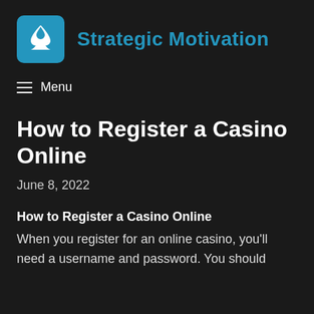Strategic Motivation
≡ Menu
How to Register a Casino Online
June 8, 2022
How to Register a Casino Online
When you register for an online casino, you'll need a username and password. You should